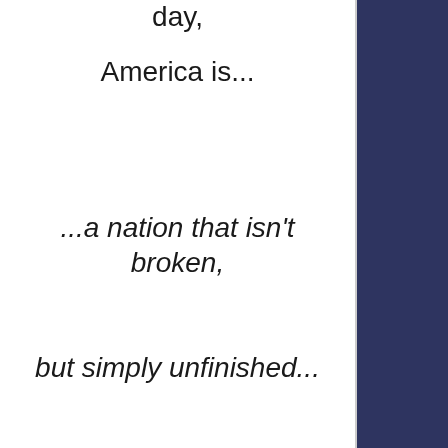day,
America is...
...a nation that isn't broken,
but simply unfinished...
Women are now included and people of color are now included,
immigrants are now included.